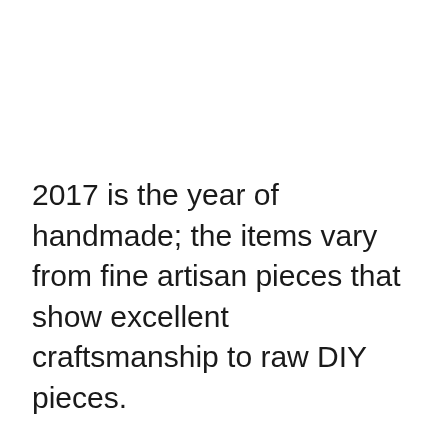2017 is the year of handmade; the items vary from fine artisan pieces that show excellent craftsmanship to raw DIY pieces.
And the trend continues this fall; handmade items show skill and technique, they also add character to a space.
Whether you choose to add a handmade wooden table to your living room or a handmade quilt to your bedroom, a handmade item adds warmth that